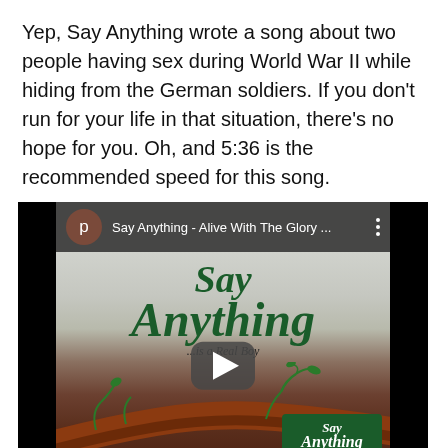Yep, Say Anything wrote a song about two people having sex during World War II while hiding from the German soldiers. If you don't run for your life in that situation, there's no hope for you. Oh, and 5:36 is the recommended speed for this song.
[Figure (screenshot): YouTube video embed showing 'Say Anything - Alive With The Glory ...' with album art for '...is a Real Boy' featuring the Say Anything logo in dark green italic script over a close-up of a branch with small plants, with a play button overlay.]